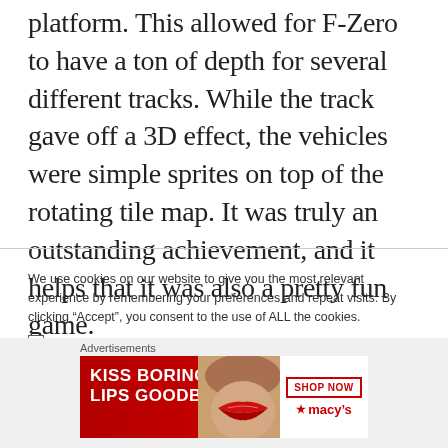platform. This allowed for F-Zero to have a ton of depth for several different tracks. While the track gave off a 3D effect, the vehicles were simple sprites on top of the rotating tile map. It was truly an outstanding achievement, and it helps that it was also a pretty fun game.
We use cookies on our website to give you the most relevant experience by remembering your preferences and repeat visits. By clicking “Accept”, you consent to the use of ALL the cookies.
Do not sell my personal information. (GotGame never sells personal info regardless of this CCPA mandated option)
Advertisements
[Figure (other): Macy's advertisement banner: 'KISS BORING LIPS GOODBYE' with a model's face showing red lips, and a 'SHOP NOW' button with the Macy's star logo on white background.]